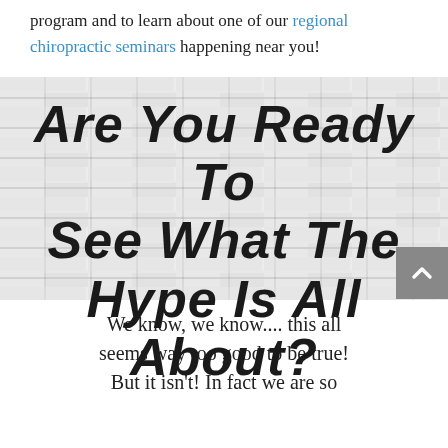program and to learn about one of our regional chiropractic seminars happening near you!
[Figure (photo): White brick wall background with large bold italic text reading 'Are You Ready To See What The Hype Is All About?']
We know, we know.... this all seems way too good to be true! But it isn't! In fact we are so...